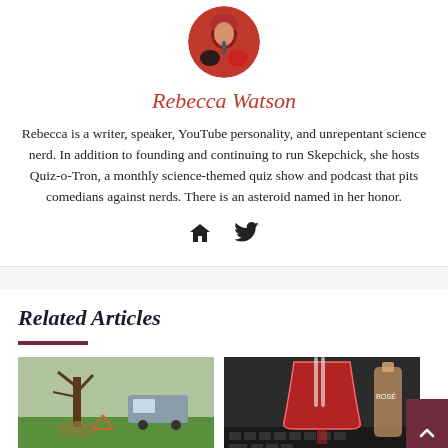[Figure (photo): Circular profile photo of Rebecca Watson, a woman with red hair holding a microphone, wearing dark clothing against a red background.]
Rebecca Watson
Rebecca is a writer, speaker, YouTube personality, and unrepentant science nerd. In addition to founding and continuing to run Skepchick, she hosts Quiz-o-Tron, a monthly science-themed quiz show and podcast that pits comedians against nerds. There is an asteroid named in her honor.
[Figure (infographic): Icons: home/website icon and Twitter bird icon for Rebecca Watson's social media links.]
Related Articles
[Figure (photo): Photo of a grassy yard with a dead or bare tree and a van parked in the background.]
[Figure (photo): Photo of a large red cocktail drink in a hurricane glass sitting on a keyboard, with a Rosé bottle in the background.]